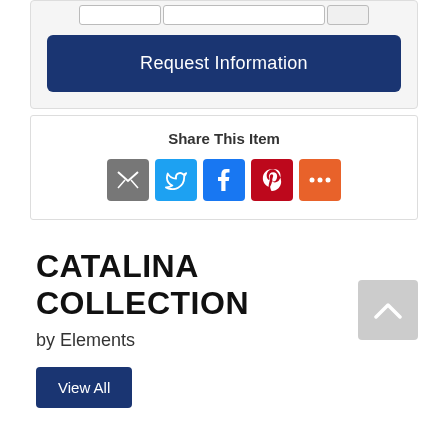[Figure (screenshot): Request Information button - dark blue rounded rectangle with white text]
Share This Item
[Figure (infographic): Social share icons: Email (grey), Twitter (blue), Facebook (blue), Pinterest (red), More (orange)]
CATALINA COLLECTION
by Elements
View All